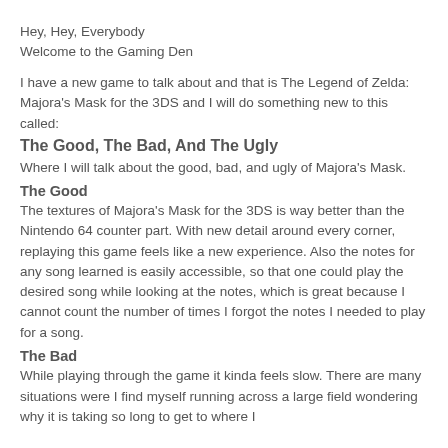Hey, Hey, Everybody
Welcome to the Gaming Den
I have a new game to talk about and that is The Legend of Zelda: Majora's Mask for the 3DS and I will do something new to this called:
The Good, The Bad, And The Ugly
Where I will talk about the good, bad, and ugly of Majora's Mask.
The Good
The textures of Majora's Mask for the 3DS is way better than the Nintendo 64 counter part. With new detail around every corner, replaying this game feels like a new experience. Also the notes for any song learned is easily accessible, so that one could play the desired song while looking at the notes, which is great because I cannot count the number of times I forgot the notes I needed to play for a song.
The Bad
While playing through the game it kinda feels slow. There are many situations were I find myself running across a large field wondering why it is taking so long to get to where I